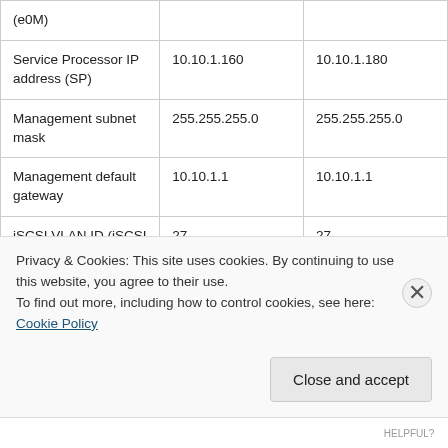| (e0M) |  |  |
| Service Processor IP address (SP) | 10.10.1.160 | 10.10.1.180 |
| Management subnet mask | 255.255.255.0 | 255.255.255.0 |
| Management default gateway | 10.10.1.1 | 10.10.1.1 |
| iSCSI VLAN ID (iSCSI | 27 | 27 |
Privacy & Cookies: This site uses cookies. By continuing to use this website, you agree to their use.
To find out more, including how to control cookies, see here: Cookie Policy
Close and accept